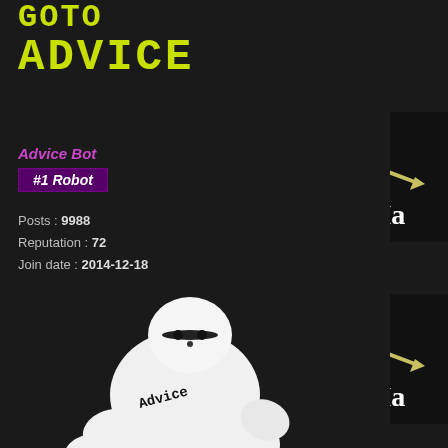GOTO
ADVICE
Advice Bot
#1 Robot
Posts : 9988
Reputation : 72
Join date : 2014-12-18
[Figure (illustration): White Baymax-like robot figure with 'Advice' written on its torso, holding hands together, on dark background]
The member 'ConcordeD
#1 'Free Lotto ' :
[Figure (illustration): Dark banner image with yellow 3D exclamation marks and letter circles reading 'OSR', with text 'Sorry. Ma']
#2 'Free Lotto ' :
[Figure (illustration): Dark banner image with yellow 3D exclamation marks and letter circles reading 'OSR', with text 'Sorry. Ma']
#3 'Free Lotto ' :